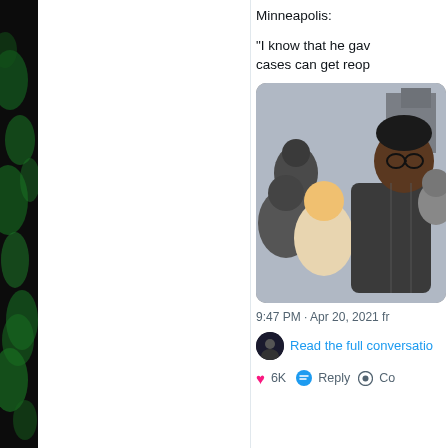[Figure (photo): Left edge: green textured background panel]
Minneapolis:
"I know that he gave cases can get reop
[Figure (photo): Photo of people at a gathering outdoors, including a tall Black man in a dark puffer jacket and a woman with blonde hair smiling]
9:47 PM · Apr 20, 2021 fr
Read the full conversatio
6K   Reply   Co